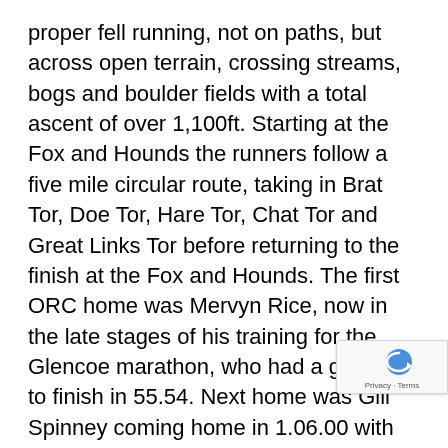proper fell running, not on paths, but across open terrain, crossing streams, bogs and boulder fields with a total ascent of over 1,100ft. Starting at the Fox and Hounds the runners follow a five mile circular route, taking in Brat Tor, Doe Tor, Hare Tor, Chat Tor and Great Links Tor before returning to the finish at the Fox and Hounds. The first ORC home was Mervyn Rice, now in the late stages of his training for the Glencoe marathon, who had a good run to finish in 55.54. Next home was Gill Spinney coming home in 1.06.00 with Debs Crome finishing in 1.11.28.
In contrast to the good conditions for the runners on Saturday, the Treggy 7 was held in appalling weather the following day. Hosted by Launceston Road Runners this is a popular but hilly seven mile road race which follows a circular route from Launceston Town square and finishes in the grounds of Launceston Castle. Heavy before and during the race made for wet feet even